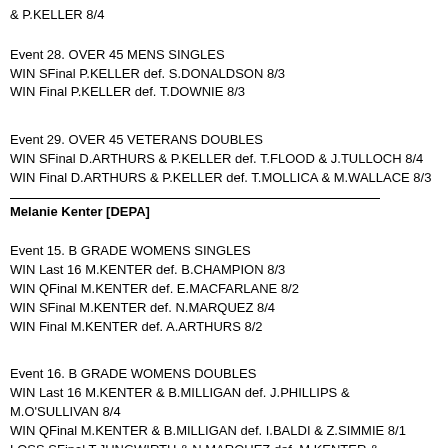& P.KELLER 8/4
Event 28. OVER 45 MENS SINGLES
WIN SFinal P.KELLER def. S.DONALDSON 8/3
WIN Final P.KELLER def. T.DOWNIE 8/3
Event 29. OVER 45 VETERANS DOUBLES
WIN SFinal D.ARTHURS & P.KELLER def. T.FLOOD & J.TULLOCH 8/4
WIN Final D.ARTHURS & P.KELLER def. T.MOLLICA & M.WALLACE 8/3
Melanie Kenter [DEPA]
Event 15. B GRADE WOMENS SINGLES
WIN Last 16 M.KENTER def. B.CHAMPION 8/3
WIN QFinal M.KENTER def. E.MACFARLANE 8/2
WIN SFinal M.KENTER def. N.MARQUEZ 8/4
WIN Final M.KENTER def. A.ARTHURS 8/2
Event 16. B GRADE WOMENS DOUBLES
WIN Last 16 M.KENTER & B.MILLIGAN def. J.PHILLIPS & M.O'SULLIVAN 8/4
WIN QFinal M.KENTER & B.MILLIGAN def. I.BALDI & Z.SIMMIE 8/1
LOSS SFinal T.JUNGWIRTH & N.MARQUEZ def. M.KENTER & B.MILLIGAN 8/5
Event 20. C GRADE WOMENS SINGLES
WIN QFinal M.KENTER def. J.REDFERN 8/1
WIN SFinal M.KENTER def. H.HAYNES 8/4
WIN Final M.KENTER def. S.BOUCHIER 8/3